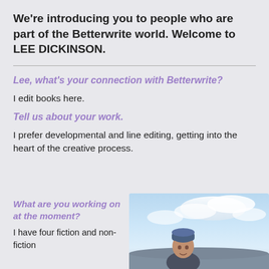We're introducing you to people who are part of the Betterwrite world.  Welcome to LEE DICKINSON.
Lee, what's your connection with Betterwrite?
I edit books here.
Tell us about your work.
I prefer developmental and line editing, getting into the heart of the creative process.
What are you working on at the moment?
[Figure (photo): Photo of Lee Dickinson outdoors, wearing a blue beanie hat, with cloudy sky in the background.]
I have four fiction and non-fiction